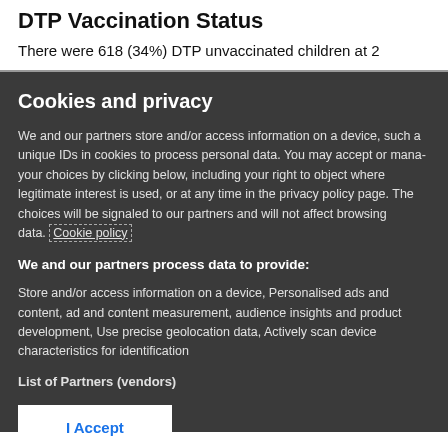DTP Vaccination Status
There were 618 (34%) DTP unvaccinated children at 2
Cookies and privacy
We and our partners store and/or access information on a device, such as unique IDs in cookies to process personal data. You may accept or manage your choices by clicking below, including your right to object where legitimate interest is used, or at any time in the privacy policy page. These choices will be signaled to our partners and will not affect browsing data. Cookie policy
We and our partners process data to provide:
Store and/or access information on a device, Personalised ads and content, ad and content measurement, audience insights and product development, Use precise geolocation data, Actively scan device characteristics for identification
List of Partners (vendors)
I Accept